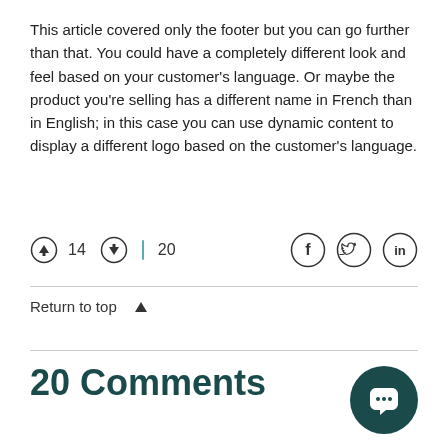This article covered only the footer but you can go further than that. You could have a completely different look and feel based on your customer's language. Or maybe the product you're selling has a different name in French than in English; in this case you can use dynamic content to display a different logo based on the customer's language.
[Figure (other): Vote/reaction row with upvote icon showing 14, downvote icon, separator, and count 20; plus share icons for Facebook, Twitter, LinkedIn]
Return to top ↑
20 Comments
[Figure (other): Dark teal circular chat/comments button icon in bottom right corner]